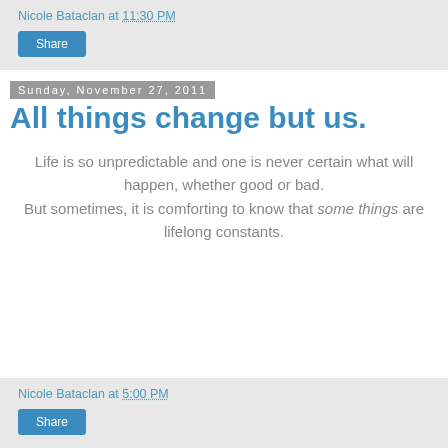Nicole Bataclan at 11:30 PM
Share
Sunday, November 27, 2011
All things change but us.
Life is so unpredictable and one is never certain what will happen, whether good or bad. But sometimes, it is comforting to know that some things are lifelong constants.
Nicole Bataclan at 5:00 PM
Share